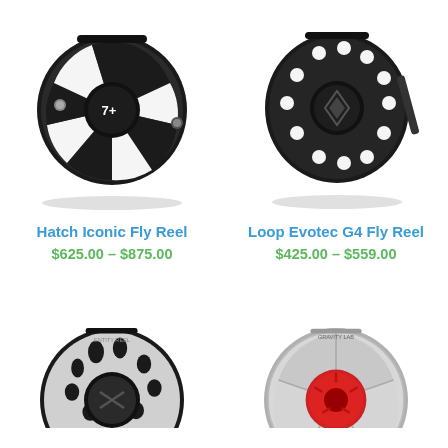[Figure (photo): Hatch Iconic Fly Reel - black fly fishing reel with '7+' label]
Hatch Iconic Fly Reel
$625.00 – $875.00
[Figure (photo): Loop Evotec G4 Fly Reel - black fly fishing reel with diamond logo]
Loop Evotec G4 Fly Reel
$425.00 – $559.00
[Figure (photo): Black and silver fly fishing reel - partially shown at bottom left]
[Figure (photo): Silver and red fly fishing reel - partially shown at bottom right]